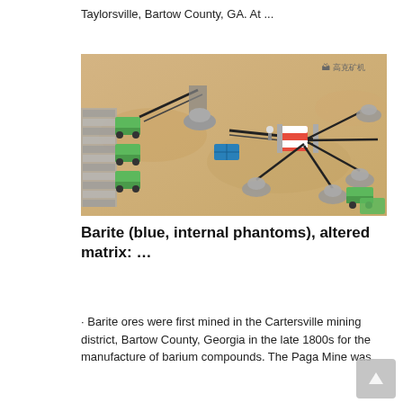Taylorsville, Bartow County, GA. At ...
[Figure (illustration): Aerial 3D rendering of a mining/quarry operation showing conveyor belts, heavy machinery, green dump trucks, gray rock piles, a red-and-white structure, and a blue container on sandy terrain. A small logo/watermark is visible in the top-right corner.]
Barite (blue, internal phantoms), altered matrix: …
· Barite ores were first mined in the Cartersville mining district, Bartow County, Georgia in the late 1800s for the manufacture of barium compounds. The Paga Mine was